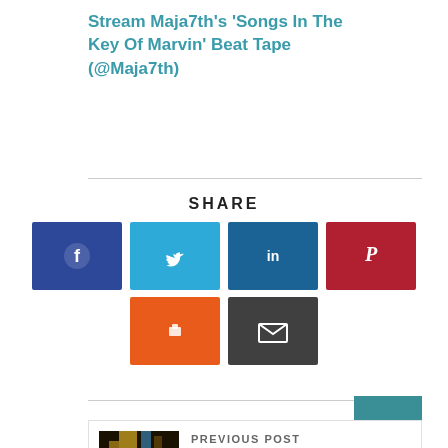Stream Maja7th's 'Songs In The Key Of Marvin' Beat Tape (@Maja7th)
SHARE
[Figure (infographic): Social share buttons: Facebook (dark blue), Twitter (light blue), LinkedIn (dark blue), Pinterest (red), Reddit (orange), Email (dark gray)]
[Figure (other): Scroll to top button (teal) with upward arrow]
PREVIOUS POST
[Figure (photo): Thumbnail image for previous post, showing a golden/yellow illuminated subject on dark background]